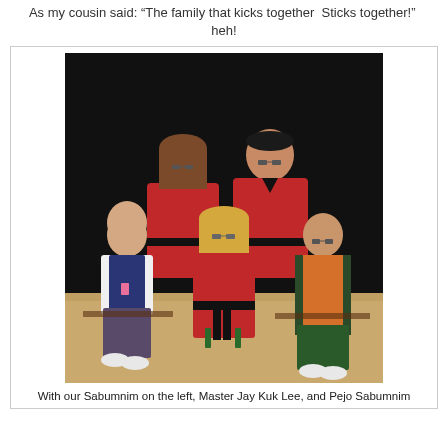As my cousin said: "The family that kicks together  Sticks together!"  heh!
[Figure (photo): Group photo of five people in martial arts attire. Two people in the back row wear red uniforms with black belts. Front row: a man on the left in a blue and white Korean hanbok, a young woman in the center in a red uniform holding a black belt, and a man on the right in an orange and green robe. Background is dark curtains; floor is light wood.]
With our Sabumnim on the left, Master Jay Kuk Lee, and Pejo Sabumnim